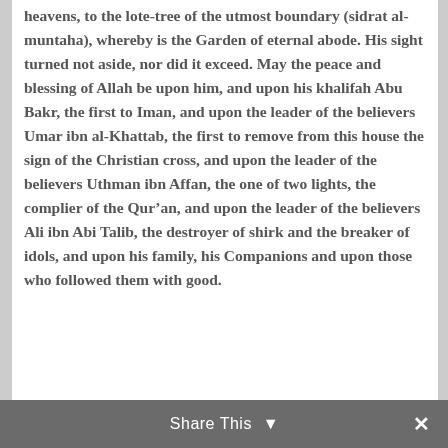heavens, to the lote-tree of the utmost boundary (sidrat al-muntaha), whereby is the Garden of eternal abode. His sight turned not aside, nor did it exceed. May the peace and blessing of Allah be upon him, and upon his khalifah Abu Bakr, the first to Iman, and upon the leader of the believers Umar ibn al-Khattab, the first to remove from this house the sign of the Christian cross, and upon the leader of the believers Uthman ibn Affan, the one of two lights, the complier of the Qur'an, and upon the leader of the believers Ali ibn Abi Talib, the destroyer of shirk and the breaker of idols, and upon his family, his Companions and upon those who followed them with good.
Share This ∨  ✕